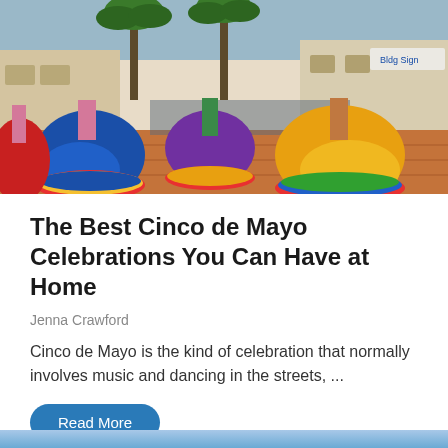[Figure (photo): Colorful Cinco de Mayo celebration with dancers in traditional Mexican folklórico dresses (blue, yellow, purple, red) spinning on a brick plaza with palm trees and storefronts in the background and a crowd of spectators.]
The Best Cinco de Mayo Celebrations You Can Have at Home
Jenna Crawford
Cinco de Mayo is the kind of celebration that normally involves music and dancing in the streets, ...
Read More